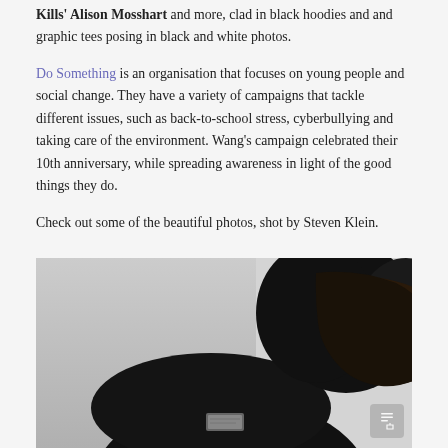Kills' Alison Mosshart and more, clad in black hoodies and and graphic tees posing in black and white photos.
Do Something is an organisation that focuses on young people and social change. They have a variety of campaigns that tackle different issues, such as back-to-school stress, cyberbullying and taking care of the environment. Wang's campaign celebrated their 10th anniversary, while spreading awareness in light of the good things they do.
Check out some of the beautiful photos, shot by Steven Klein.
[Figure (photo): Black and white photo of a person wearing a black hoodie, shown in profile/side view against a light grey background. The person appears to be looking to the right.]